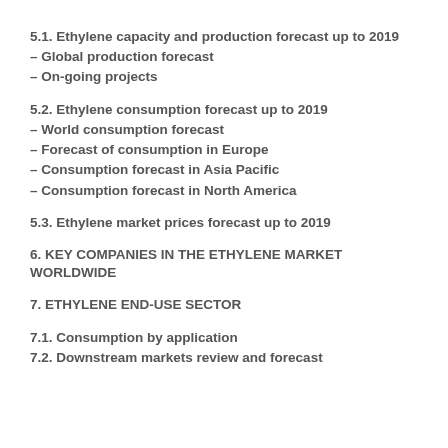5.1. Ethylene capacity and production forecast up to 2019
– Global production forecast
– On-going projects
5.2. Ethylene consumption forecast up to 2019
– World consumption forecast
– Forecast of consumption in Europe
– Consumption forecast in Asia Pacific
– Consumption forecast in North America
5.3. Ethylene market prices forecast up to 2019
6. KEY COMPANIES IN THE ETHYLENE MARKET WORLDWIDE
7. ETHYLENE END-USE SECTOR
7.1. Consumption by application
7.2. Downstream markets review and forecast